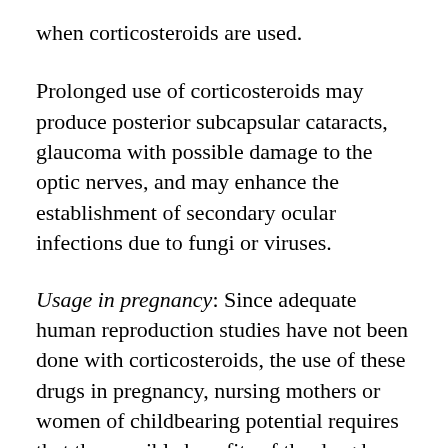when corticosteroids are used.
Prolonged use of corticosteroids may produce posterior subcapsular cataracts, glaucoma with possible damage to the optic nerves, and may enhance the establishment of secondary ocular infections due to fungi or viruses.
Usage in pregnancy: Since adequate human reproduction studies have not been done with corticosteroids, the use of these drugs in pregnancy, nursing mothers or women of childbearing potential requires that the possible benefits of the drug be weighed against the potential hazards to the mother and embryo or fetus. Infants born of mothers who have